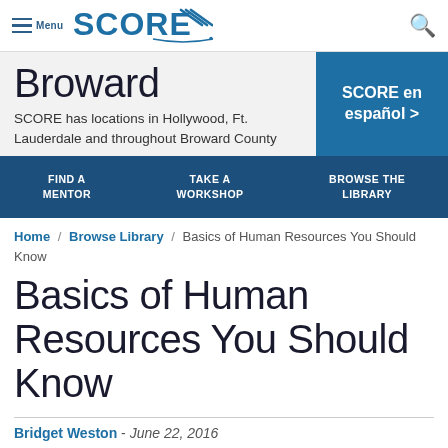Menu | SCORE
Broward
SCORE has locations in Hollywood, Ft. Lauderdale and throughout Broward County
SCORE en español >
FIND A MENTOR / TAKE A WORKSHOP / BROWSE THE LIBRARY
Home / Browse Library / Basics of Human Resources You Should Know
Basics of Human Resources You Should Know
Bridget Weston - June 22, 2016